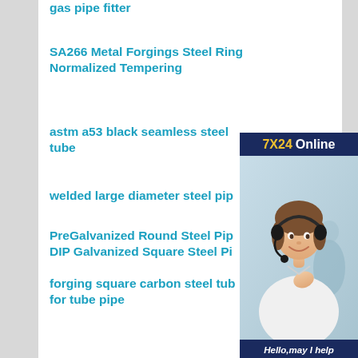gas pipe fitter
SA266 Metal Forgings Steel Ring Normalized Tempering
astm a53 black seamless steel tube
welded large diameter steel pip…
PreGalvanized Round Steel Pip… DIP Galvanized Square Steel Pi…
forging square carbon steel tub… for tube pipe
erw hollow welded steel pipe sgs certificate low price
[Figure (illustration): Chat support widget with '7X24 Online' header, a woman wearing a headset smiling, and a dark blue panel with 'Hello, may I help you?' text and a yellow 'Get Latest Price' button]